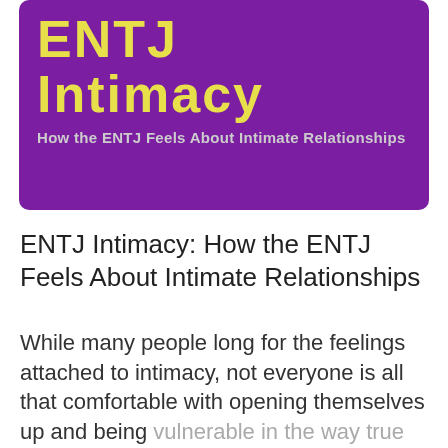[Figure (illustration): Book cover with purple background showing 'ENTJ Intimacy' title in large yellow text and subtitle 'How the ENTJ Feels About Intimate Relationships' in grey text.]
ENTJ Intimacy: How the ENTJ Feels About Intimate Relationships
While many people long for the feelings attached to intimacy, not everyone is all that comfortable with opening themselves up and being vulnerable in the way true intimacy often requires. For some it often